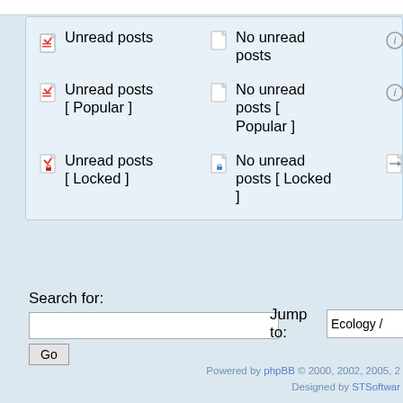Unread posts
No unread posts
Anno
Unread posts [ Popular ]
No unread posts [ Popular ]
Stick
Unread posts [ Locked ]
No unread posts [ Locked ]
Move
Search for:
Jump to: Ecology /
Powered by phpBB © 2000, 2002, 2005, 2 Designed by STSoftwar